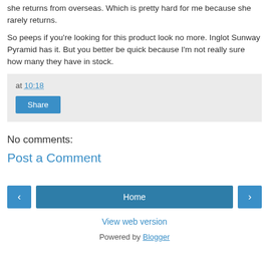she returns from overseas. Which is pretty hard for me because she rarely returns.
So peeps if you're looking for this product look no more. Inglot Sunway Pyramid has it. But you better be quick because I'm not really sure how many they have in stock.
at 10:18
Share
No comments:
Post a Comment
‹  Home  ›
View web version
Powered by Blogger